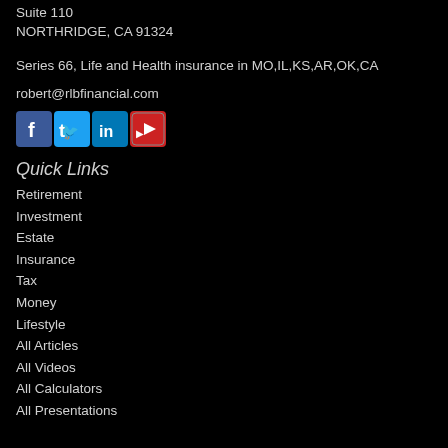Suite 110
NORTHRIDGE, CA 91324
Series 66, Life and Health insurance in MO,IL,KS,AR,OK,CA
robert@rlbfinancial.com
[Figure (other): Social media icons: Facebook, Twitter, LinkedIn, YouTube]
Quick Links
Retirement
Investment
Estate
Insurance
Tax
Money
Lifestyle
All Articles
All Videos
All Calculators
All Presentations